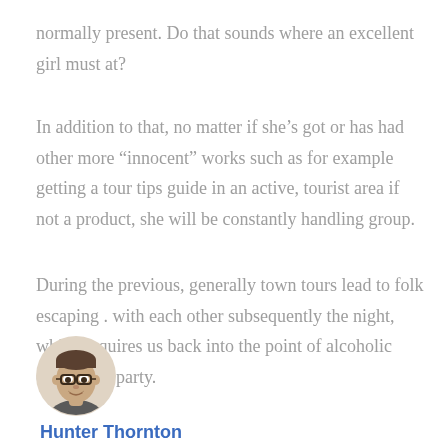normally present. Do that sounds where an excellent girl must at?
In addition to that, no matter if she’s got or has had other more “innocent” works such as for example getting a tour tips guide in an active, tourist area if not a product, she will be constantly handling group.
During the previous, generally town tours lead to folk escaping . with each other subsequently the night, which requires us back into the point of alcoholic drinks and party.
[Figure (photo): Circular avatar photo of a man wearing glasses, brown hair, slight smile, gray/neutral background]
Hunter Thornton